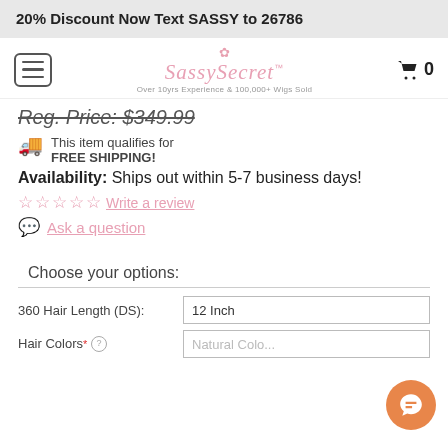20% Discount Now Text SASSY to 26786
[Figure (logo): SassySecret logo with crown icon and tagline: Over 10yrs Experience & 100,000+ Wigs Sold]
Reg. Price: $349.99
This item qualifies for FREE SHIPPING!
Availability: Ships out within 5-7 business days!
Write a review
Ask a question
Choose your options:
360 Hair Length (DS): 12 Inch
Hair Colors: